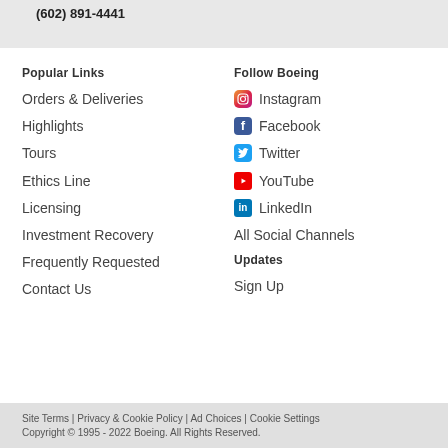(602) 891-4441
Popular Links
Orders & Deliveries
Highlights
Tours
Ethics Line
Licensing
Investment Recovery
Frequently Requested
Contact Us
Follow Boeing
Instagram
Facebook
Twitter
YouTube
LinkedIn
All Social Channels
Updates
Sign Up
Site Terms | Privacy & Cookie Policy | Ad Choices | Cookie Settings
Copyright © 1995 - 2022 Boeing. All Rights Reserved.